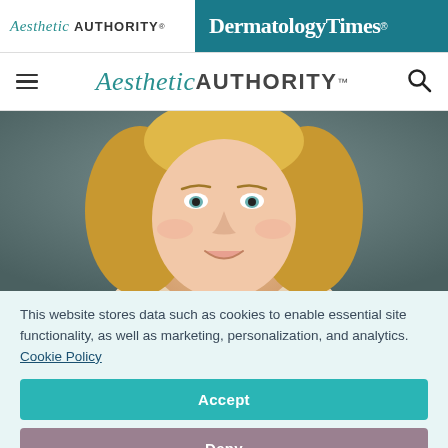Aesthetic Authority | DermatologyTimes
[Figure (logo): Aesthetic Authority and DermatologyTimes logos in navigation bar]
[Figure (photo): Portrait photo of a smiling blonde woman with blue-green eyes, cropped at shoulders, against a grey-green background]
This website stores data such as cookies to enable essential site functionality, as well as marketing, personalization, and analytics. Cookie Policy
Accept
Deny